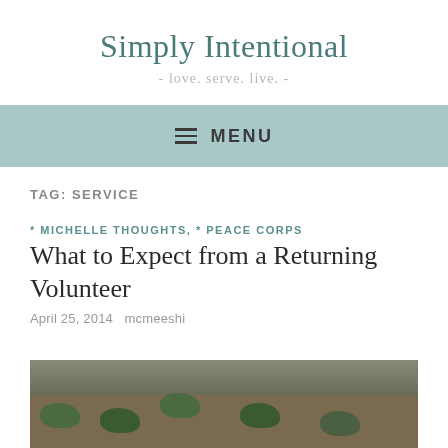Simply Intentional
- love. serve. live. -
≡ MENU
TAG: SERVICE
* MICHELLE THOUGHTS, * PEACE CORPS
What to Expect from a Returning Volunteer
April 25, 2014   mcmeeshi
[Figure (photo): Ground-level outdoor photo showing dirt/soil ground with sparse green vegetation]